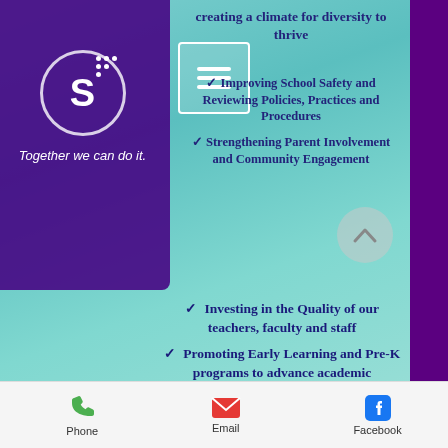[Figure (logo): School logo with letter S in circle and dots, tagline: Together we can do it.]
creating a climate for diversity to thrive
Improving School Safety and Reviewing Policies, Practices and Procedures
Strengthening Parent Involvement and Community Engagement
Investing in the Quality of our teachers, faculty and staff
Promoting Early Learning and Pre-K programs to advance academic achievement for ALL students
Holding every one accountable for promises made, we must build back trust in our School District by providing strong leadership with the courage to do the right things.
We must strengthen the relationship and
Phone   Email   Facebook